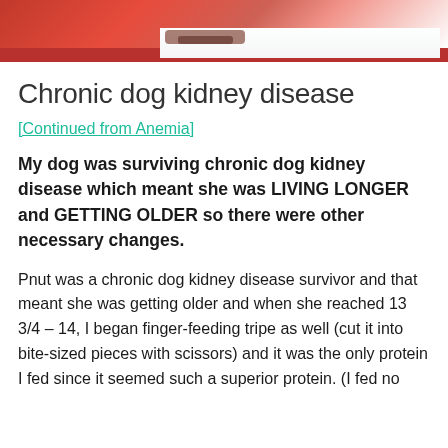[Figure (photo): Partial photo showing red fabric or material, likely a dog wearing a red outfit, cropped at top of page]
Chronic dog kidney disease
[Continued from Anemia]
My dog was surviving chronic dog kidney disease which meant she was LIVING LONGER and GETTING OLDER so there were other necessary changes.
Pnut was a chronic dog kidney disease survivor and that meant she was getting older and when she reached 13 3/4 – 14, I began finger-feeding tripe as well (cut it into bite-sized pieces with scissors) and it was the only protein I fed since it seemed such a superior protein. (I fed no